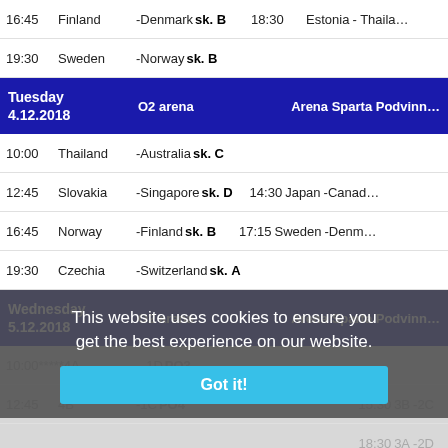| Time | Team1 | Team2 | Group | Time2 | Team3 | Team4 |
| --- | --- | --- | --- | --- | --- | --- |
| 16:45 | Finland | -Denmark | sk. B | 18:30 | Estonia | -Thaila... |
| 19:30 | Sweden | -Norway | sk. B |  |  |  |
| Tuesday 4.12.2018 | O2 arena |  |  |  | Arena Sparta Podvinn... |  |
| 10:00 | Thailand | -Australia | sk. C |  |  |  |
| 12:45 | Slovakia | -Singapore | sk. D | 14:30 | Japan | -Canad... |
| 16:45 | Norway | -Finland | sk. B | 17:15 | Sweden | -Denm... |
| 19:30 | Czechia | -Switzerland | sk. A |  |  |  |
| Wednesday 5.12.2018 | O2 arena |  |  |  | Arena Sparta Podvinn... |  |
| 10:00***** | 4A | -1D | PO3 |  |  |  |
| 12:45 | 4B | -1C | PO4 |  |  |  |
|  |  |  |  | 15:30 | 3B | -2C |
|  |  |  |  | 18:30 | 3A | -2D |
| Thursday 6.12.2018 | O2 arena |  |  |  | Arena Sparta Podvinn... |  |
|  |  |  |  | 09:30 | 3D | -4C |
This website uses cookies to ensure you get the best experience on our website.
Got it!